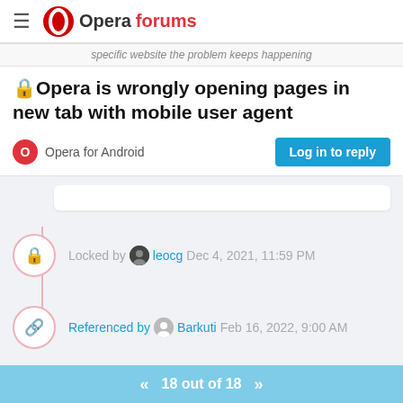Opera forums
specific website the problem keeps happening
Opera is wrongly opening pages in new tab with mobile user agent
Opera for Android
Log in to reply
Locked by leocg Dec 4, 2021, 11:59 PM
Referenced by Barkuti Feb 16, 2022, 9:00 AM
Referenced by Barkuti Feb 16, 2022, 9:05 AM
18 out of 18